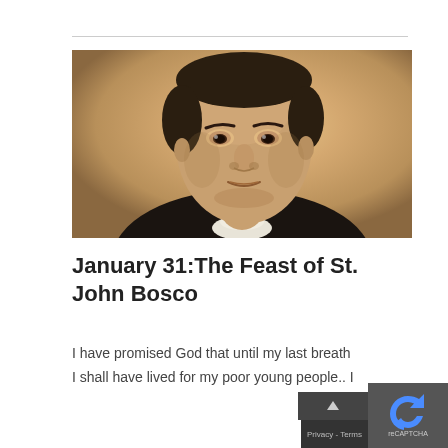[Figure (photo): Black and white portrait photograph of St. John Bosco, a middle-aged man wearing clerical collar and dark clothing, looking forward, with a warm sepia-toned background.]
January 31:The Feast of St. John Bosco
I have promised God that until my last breath I shall have lived for my poor young people..  I